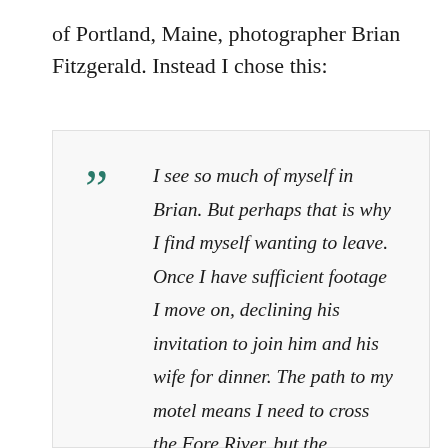of Portland, Maine, photographer Brian Fitzgerald. Instead I chose this:
I see so much of myself in Brian. But perhaps that is why I find myself wanting to leave. Once I have sufficient footage I move on, declining his invitation to join him and his wife for dinner. The path to my motel means I need to cross the Fore River, but the drawbridge spanning Casco Bay is up. In front of me an elderly man in an aging sedan honks. I'm not sure what he's hoping to accomplish. None of us can move, not until that